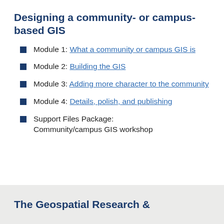Designing a community- or campus-based GIS
Module 1: What a community or campus GIS is
Module 2: Building the GIS
Module 3: Adding more character to the community
Module 4: Details, polish, and publishing
Support Files Package: Community/campus GIS workshop
The Geospatial Research &